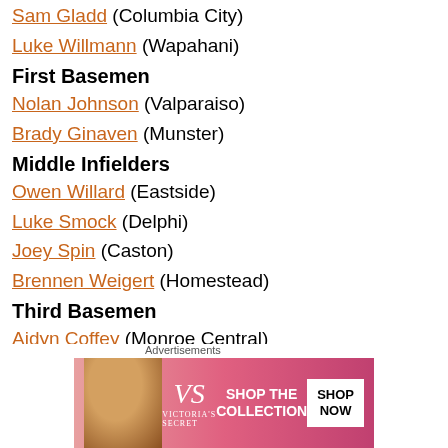Sam Gladd (Columbia City)
Luke Willmann (Wapahani)
First Basemen
Nolan Johnson (Valparaiso)
Brady Ginaven (Munster)
Middle Infielders
Owen Willard (Eastside)
Luke Smock (Delphi)
Joey Spin (Caston)
Brennen Weigert (Homestead)
Third Basemen
Aidyn Coffey (Monroe Central)
Dalton Wasson (Heritage)
Outfielders
Connor Misch (Lake Central)
Luke Siren (Fort Wayne Northrop)
[Figure (other): Victoria's Secret advertisement banner]